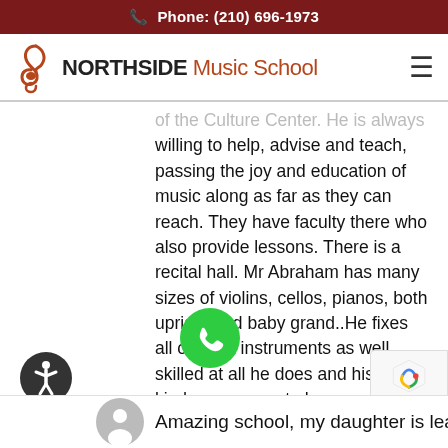Phone: (210) 696-1973
[Figure (logo): Northside Music School logo with treble clef icon]
willing to help, advise and teach, passing the joy and education of music along as far as they can reach. They have faculty there who also provide lessons. There is a recital hall. Mr Abraham has many sizes of violins, cellos, pianos, both upright and baby grand..He fixes all or most instruments as well, skilled at all he does and his kindness seems to have no end.
[Figure (logo): Facebook logo icon (blue circle with white f)]
Mel C.
Facebook Review
[Figure (illustration): Green phone call button (circular green button with white phone handset icon)]
[Figure (other): Accessibility icon (dark circle with stick figure person symbol)]
[Figure (other): reCAPTCHA badge with Privacy and Terms links]
Amazing school, my daughter is learning at